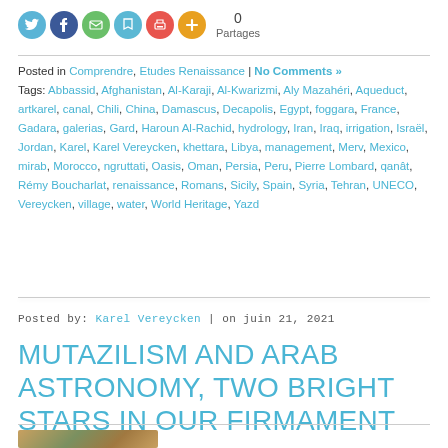[Figure (other): Social media sharing icons: Twitter (blue circle), Facebook (dark blue circle), Email (green circle), bookmark (teal circle), Print (red circle), Plus/more (orange circle), with count '0 Partages']
Posted in Comprendre, Etudes Renaissance | No Comments »
Tags: Abbassid, Afghanistan, Al-Karaji, Al-Kwarizmi, Aly Mazahéri, Aqueduct, artkarel, canal, Chili, China, Damascus, Decapolis, Egypt, foggara, France, Gadara, galerias, Gard, Haroun Al-Rachid, hydrology, Iran, Iraq, irrigation, Israël, Jordan, Karel, Karel Vereycken, khettara, Libya, management, Merv, Mexico, mirab, Morocco, ngruttati, Oasis, Oman, Persia, Peru, Pierre Lombard, qanât, Rémy Boucharlat, renaissance, Romans, Sicily, Spain, Syria, Tehran, UNECO, Vereycken, village, water, World Heritage, Yazd
Posted by: Karel Vereycken | on juin 21, 2021
MUTAZILISM AND ARAB ASTRONOMY, TWO BRIGHT STARS IN OUR FIRMAMENT
[Figure (photo): Partial thumbnail image visible at bottom of page]